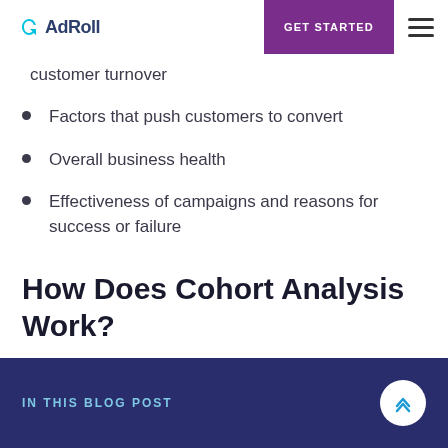AdRoll | GET STARTED
customer turnover
Factors that push customers to convert
Overall business health
Effectiveness of campaigns and reasons for success or failure
How Does Cohort Analysis Work?
Most major marketing platforms, such as AdRoll's
IN THIS BLOG POST